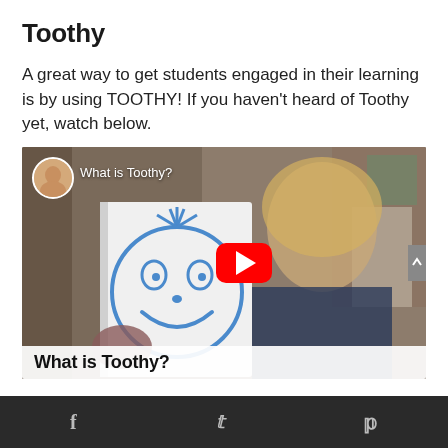Toothy
A great way to get students engaged in their learning is by using TOOTHY! If you haven't heard of Toothy yet, watch below.
[Figure (screenshot): YouTube video thumbnail showing a teacher holding a notebook with a smiley face drawing labeled 'What is Toothy?' with a red YouTube play button overlay. Video title overlay at top reads 'What is Toothy?' and bottom caption bar reads 'What is Toothy?']
f  t  p